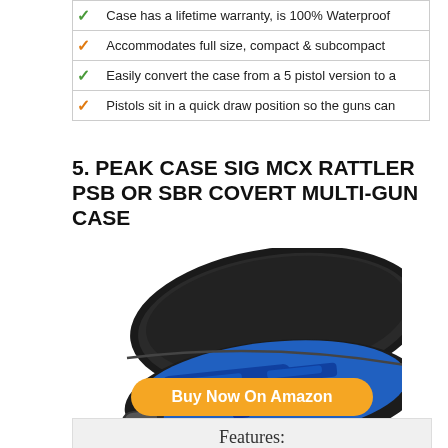| ✓ | Case has a lifetime warranty, is 100% Waterproof |
| ✓ | Accommodates full size, compact & subcompact |
| ✓ | Easily convert the case from a 5 pistol version to a |
| ✓ | Pistols sit in a quick draw position so the guns can |
5. PEAK CASE SIG MCX RATTLER PSB OR SBR COVERT MULTI-GUN CASE
[Figure (photo): Open gun case with blue foam interior shaped for an SBR/pistol, black hard shell exterior, shown open from above at slight angle.]
Buy Now On Amazon
Features: